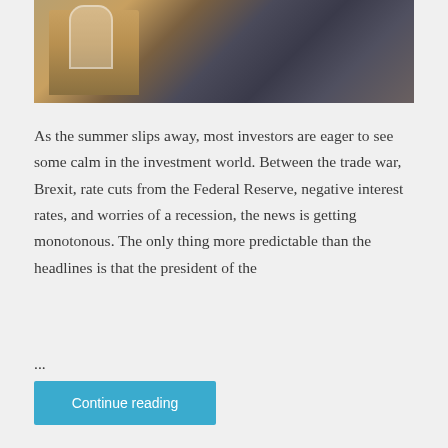[Figure (photo): Urban architectural photo showing a brick building with arched windows (likely a historic financial district building) alongside modern steel/glass infrastructure, shot from a low angle looking up.]
As the summer slips away, most investors are eager to see some calm in the investment world. Between the trade war, Brexit, rate cuts from the Federal Reserve, negative interest rates, and worries of a recession, the news is getting monotonous. The only thing more predictable than the headlines is that the president of the
...
Continue reading